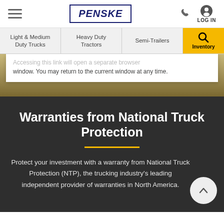PENSKE — navigation header with hamburger menu, phone icon, and LOG IN
Light & Medium Duty Trucks | Heavy Duty Tractors | Semi-Trailers | Inventory
Accessing this link will open a separate browser window. You may return to the current window at any time.
Warranties from National Truck Protection
Protect your investment with a warranty from National Truck Protection (NTP), the trucking industry's leading independent provider of warranties in North America.